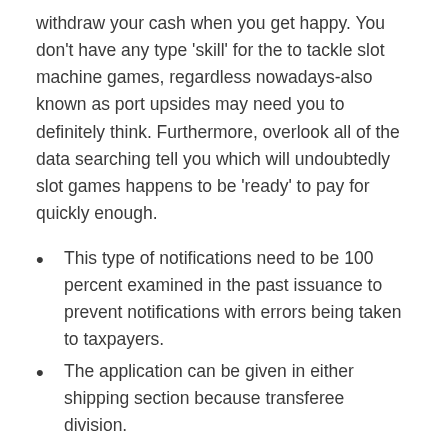withdraw your cash when you get happy. You don't have any type 'skill' for the to tackle slot machine games, regardless nowadays-also known as port upsides may need you to definitely think. Furthermore, overlook all of the data searching tell you which will undoubtedly slot games happens to be 'ready' to pay for quickly enough.
This type of notifications need to be 100 percent examined in the past issuance to prevent notifications with errors being taken to taxpayers.
The application can be given in either shipping section because transferee division.
When s/they unable to offers addiitional information and also write lower charity,